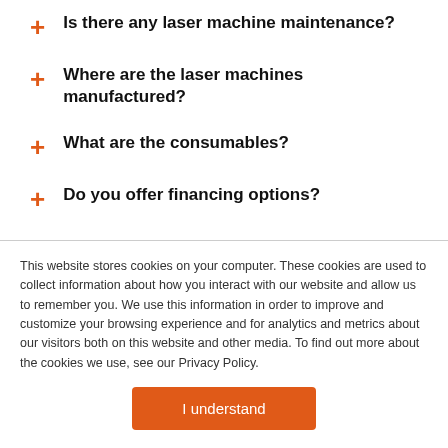Is there any laser machine maintenance?
Where are the laser machines manufactured?
What are the consumables?
Do you offer financing options?
What materials can be cut or engraved?
What kinds of graphics can AP Lazer Laser machines cut/engrave?
This website stores cookies on your computer. These cookies are used to collect information about how you interact with our website and allow us to remember you. We use this information in order to improve and customize your browsing experience and for analytics and metrics about our visitors both on this website and other media. To find out more about the cookies we use, see our Privacy Policy.
I understand